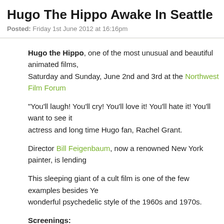Hugo The Hippo Awake In Seattle (2nd and
Posted: Friday 1st June 2012 at 16:16pm
Hugo the Hippo, one of the most unusual and beautiful animated films, Saturday and Sunday, June 2nd and 3rd at the Northwest Film Forum
"You'll laugh! You'll cry! You'll love it! You'll hate it! You'll want to see it actress and long time Hugo fan, Rachel Grant.
Director Bill Feigenbaum, now a renowned New York painter, is lending
This sleeping giant of a cult film is one of the few examples besides Ye wonderful psychedelic style of the 1960s and 1970s.
Screenings:
- Saturday 2nd June 2012 at 5pm
- Sunday 3rd June 2012 at 5pm
Venue:
Northwest Film Forum
1515 12th Avenue